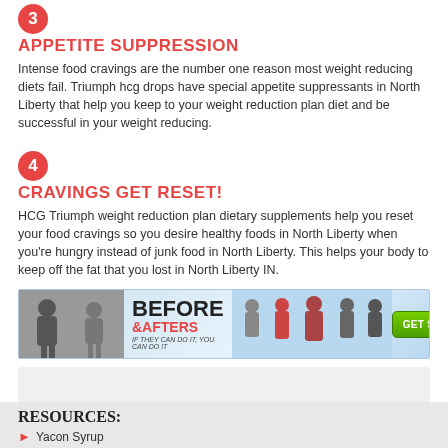3 APPETITE SUPPRESSION
Intense food cravings are the number one reason most weight reducing diets fail. Triumph hcg drops have special appetite suppressants in North Liberty that help you keep to your weight reduction plan diet and be successful in your weight reducing.
4 CRAVINGS GET RESET!
HCG Triumph weight reduction plan dietary supplements help you reset your food cravings so you desire healthy foods in North Liberty when you’re hungry instead of junk food in North Liberty. This helps your body to keep off the fat that you lost in North Liberty IN.
[Figure (infographic): Banner ad showing before and after weight loss photos with text 'BEFORE & AFTERS - IF THEY CAN DO IT, YOU CAN DO IT' and a green 'GET STARTED TODAY' button]
RESOURCES:
Yacon Syrup